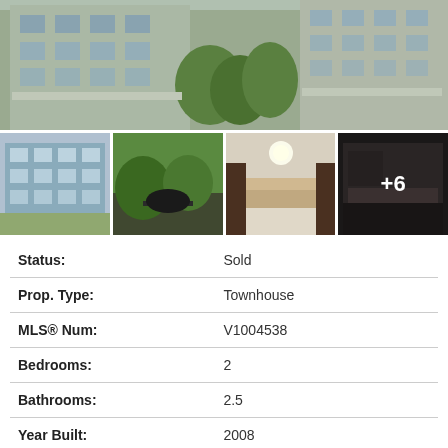[Figure (photo): Main panoramic exterior photo of a multi-storey residential building with glass balconies and trees]
[Figure (photo): Grid of 4 property thumbnail photos: exterior building, outdoor patio, interior kitchen, dark interior with +6 overlay]
| Property Field | Value |
| --- | --- |
| Status: | Sold |
| Prop. Type: | Townhouse |
| MLS® Num: | V1004538 |
| Bedrooms: | 2 |
| Bathrooms: | 2.5 |
| Year Built: | 2008 |
PHOTOS (10)
CONTACT ABOUT DET